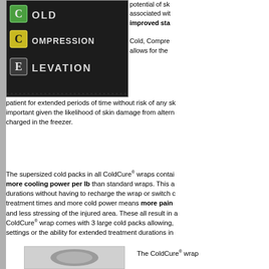[Figure (photo): Chalkboard with COLD, COMPRESSION, ELEVATION words written in chalk with letter tiles for C, C, E highlighted in green and yellow squares]
potential of sk associated with improved sta Cold, Compre allows for the
patient for extended periods of time without risk of any sk important given the likelihood of skin damage from alterna charged in the freezer.
The supersized cold packs in all ColdCure® wraps contai more cooling power per lb than standard wraps. This a durations without having to recharge the wrap or switch c treatment times and more cold power means more pain and less stressing of the injured area. These all result in a ColdCure® wrap comes with 3 large cold packs allowing, settings or the ability for extended treatment durations in
[Figure (photo): Partial image at bottom left, appears to be a ColdCure wrap product image]
The ColdCure® wrap